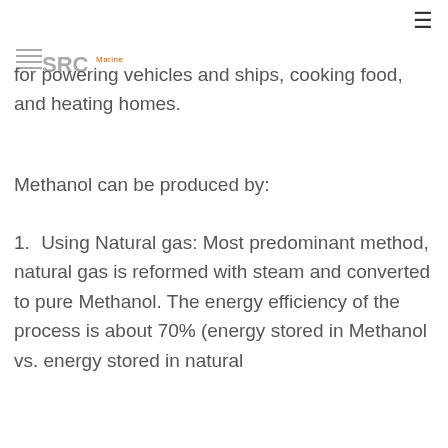≡
[Figure (logo): SRC Marine logo with diagonal lines and text]
for powering vehicles and ships, cooking food, and heating homes.
Methanol can be produced by:
Using Natural gas: Most predominant method, natural gas is reformed with steam and converted to pure Methanol. The energy efficiency of the process is about 70% (energy stored in Methanol vs. energy stored in natural